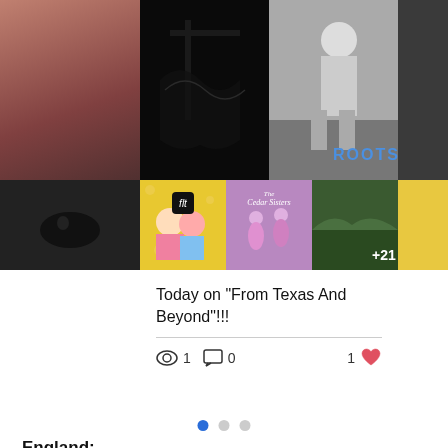[Figure (photo): Grid of music album covers and photos. Top left: dark/black background with flowing liquid. Top right: black and white photo of person sitting outdoors with 'ROOTS' text in blue. Bottom left grid: colorful photo of two people with a heart logo. Bottom middle: purple/pink background with 'Cedar Sisters' cursive text and dancing figures. Bottom right: dark green background with +21 overlay.]
Today on "From Texas And Beyond"!!!
1  0  1
England:
20-22 Wenlock Road
London
N1 7GU